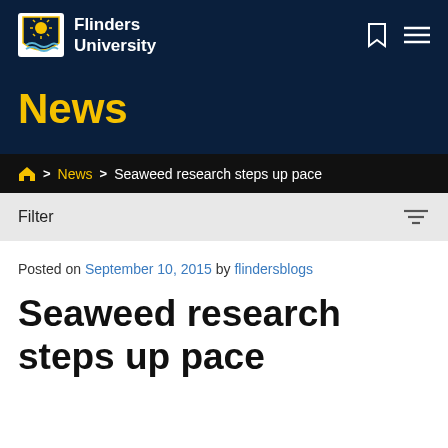Flinders University
News
Home > News > Seaweed research steps up pace
Filter
Posted on September 10, 2015 by flindersblogs
Seaweed research steps up pace